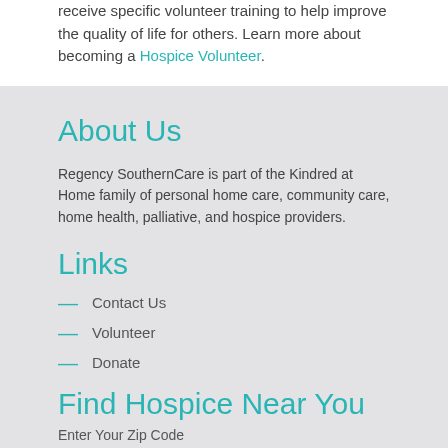receive specific volunteer training to help improve the quality of life for others. Learn more about becoming a Hospice Volunteer.
About Us
Regency SouthernCare is part of the Kindred at Home family of personal home care, community care, home health, palliative, and hospice providers.
Links
Contact Us
Volunteer
Donate
Find Hospice Near You
Enter Your Zip Code